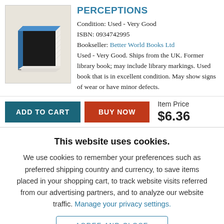[Figure (illustration): Illustration of a stack of books with a blue cover, seen from a 3/4 angle, on a light beige background.]
PERCEPTIONS
Condition: Used - Very Good
ISBN: 0934742995
Bookseller: Better World Books Ltd
Used - Very Good. Ships from the UK. Former library book; may include library markings. Used book that is in excellent condition. May show signs of wear or have minor defects.
Item Price $6.36
This website uses cookies.
We use cookies to remember your preferences such as preferred shipping country and currency, to save items placed in your shopping cart, to track website visits referred from our advertising partners, and to analyze our website traffic. Manage your privacy settings.
AGREE AND CLOSE